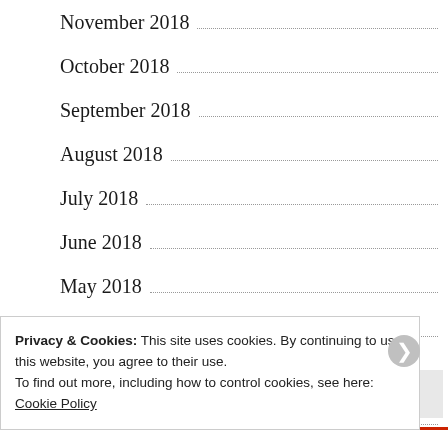November 2018
October 2018
September 2018
August 2018
July 2018
June 2018
May 2018
April 2018
March 2018
February 2018
Privacy & Cookies: This site uses cookies. By continuing to use this website, you agree to their use.
To find out more, including how to control cookies, see here: Cookie Policy
Close and accept